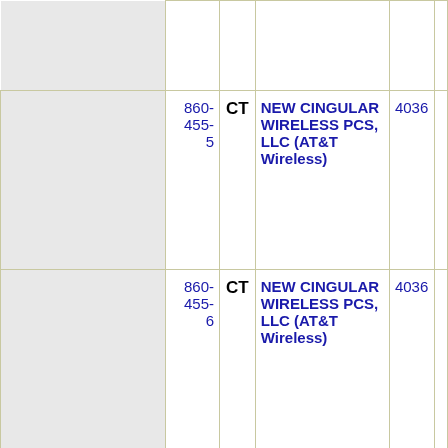|  | Phone | State | Carrier | Code |  |
| --- | --- | --- | --- | --- | --- |
|  |  |  |  |  |  |
|  | 860-455-5 | CT | NEW CINGULAR WIRELESS PCS, LLC (AT&T Wireless) | 4036 |  |
|  | 860-455-6 | CT | NEW CINGULAR WIRELESS PCS, LLC (AT&T Wireless) | 4036 |  |